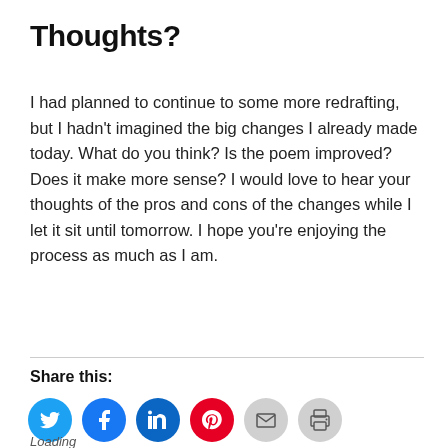Thoughts?
I had planned to continue to some more redrafting, but I hadn't imagined the big changes I already made today. What do you think? Is the poem improved? Does it make more sense? I would love to hear your thoughts of the pros and cons of the changes while I let it sit until tomorrow. I hope you’re enjoying the process as much as I am.
Share this:
Loading